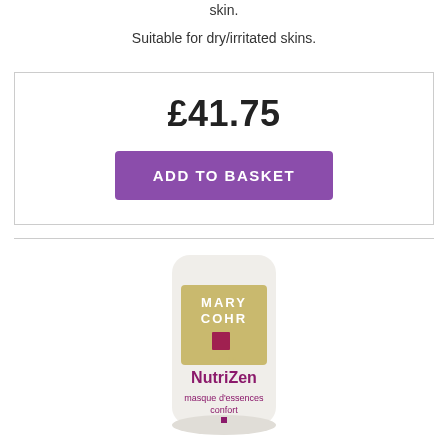skin.
Suitable for dry/irritated skins.
£41.75
ADD TO BASKET
[Figure (photo): Mary Cohr NutriZen masque d'essences confort product tube, white with gold Mary Cohr logo label and purple text]